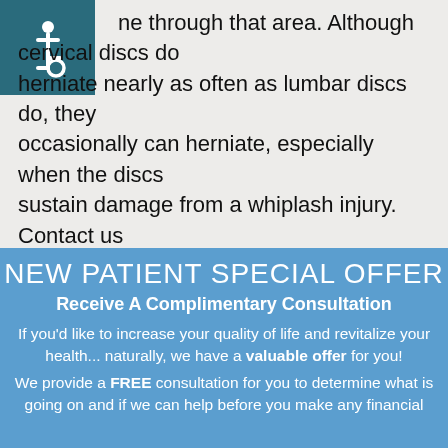[Figure (illustration): Accessibility icon: white wheelchair user symbol on teal/dark teal square background, top-left corner]
ne through that area. Although cervical discs do herniate nearly as often as lumbar discs do, they occasionally can herniate, especially when the discs sustain damage from a whiplash injury. Contact us today!
NEW PATIENT SPECIAL OFFER
Receive A Complimentary Consultation
If you'd like to increase your quality of life and revitalize your health... naturally, we have a valuable offer for you!
We provide a FREE consultation for you to determine what is going on and if we can help before you make any financial